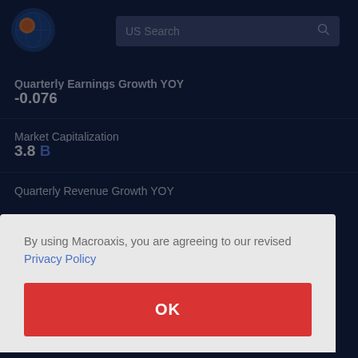[Figure (logo): Macroaxis logo — circular icon with globe and orange/blue design]
US Search
Quarterly Earnings Growth YOY
-0.076
Market Capitalization
3.8 B
By using Macroaxis, you are agreeing to our revised Privacy Policy
OK